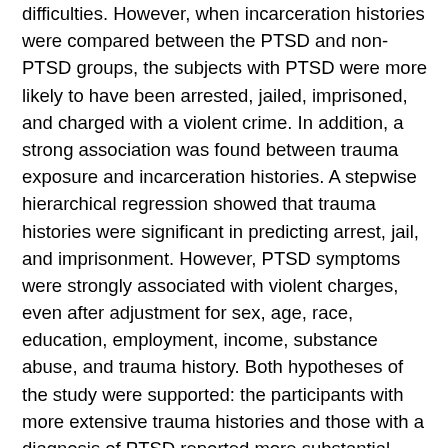difficulties. However, when incarceration histories were compared between the PTSD and non-PTSD groups, the subjects with PTSD were more likely to have been arrested, jailed, imprisoned, and charged with a violent crime. In addition, a strong association was found between trauma exposure and incarceration histories. A stepwise hierarchical regression showed that trauma histories were significant in predicting arrest, jail, and imprisonment. However, PTSD symptoms were strongly associated with violent charges, even after adjustment for sex, age, race, education, employment, income, substance abuse, and trauma history. Both hypotheses of the study were supported: the participants with more extensive trauma histories and those with a diagnosis of PTSD reported more substantial incarceration records than did those with less extensive trauma histories who did not have the diagnosis. The results of this work support findings from previous studies illustrating the relationship between PTSD and violent behavior. This study adds to previous findings by identifying this association in an inner-city, civilian sample and providing evidence that the behavioral sequelae